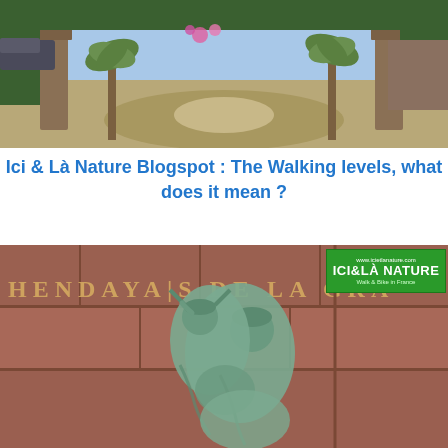[Figure (photo): Outdoor scene with palm trees, stone pillars/columns, a circular driveway or roundabout, and green hedge in the background under blue sky]
Ici & Là Nature Blogspot : The Walking levels, what does it mean ?
[Figure (photo): Stone monument or war memorial with carved text reading 'HENDAYAIS DE LA GRA...' in golden letters on reddish-brown stone. In the foreground is a green bronze sculpture of two figures embracing — one supporting the other. A green logo overlay in top-right corner reads 'ICI & LÀ NATURE — Walk & Bike in France' on www.icietlanature.com]